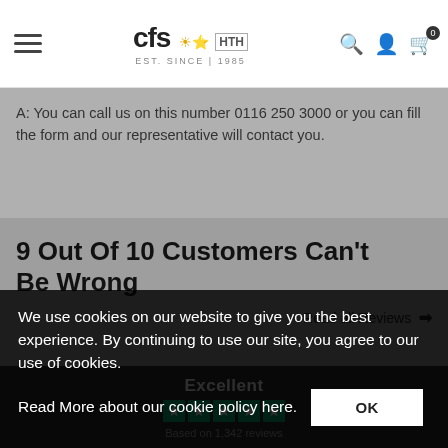CFS | est. since 1985
A: You can call us on this number 0116 250 3000 or you can fill the form and our representative will contact you.
9 Out Of 10 Customers Can't Be Wrong
Read all Reviews →
Excellent
Based on 1,342 reviews
We use cookies on our website to give you the best experience. By continuing to use our site, you agree to our use of cookies.
Read More about our cookie policy here.
OK